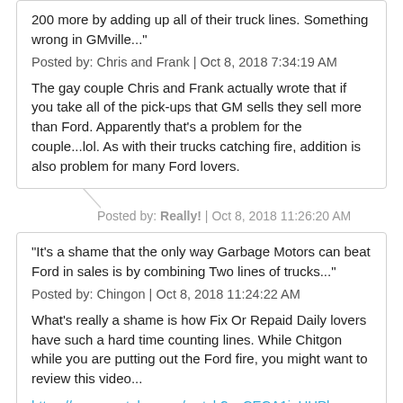200 more by adding up all of their truck lines. Something wrong in GMville..."
Posted by: Chris and Frank | Oct 8, 2018 7:34:19 AM
The gay couple Chris and Frank actually wrote that if you take all of the pick-ups that GM sells they sell more than Ford. Apparently that's a problem for the couple...lol. As with their trucks catching fire, addition is also problem for many Ford lovers.
Posted by: Really! | Oct 8, 2018 11:26:20 AM
"It's a shame that the only way Garbage Motors can beat Ford in sales is by combining Two lines of trucks..."
Posted by: Chingon | Oct 8, 2018 11:24:22 AM
What's really a shame is how Fix Or Repaid Daily lovers have such a hard time counting lines. While Chitgon while you are putting out the Ford fire, you might want to review this video...
https://www.youtube.com/watch?v=CECA1juUHPk
Most of the F$rd buyers will understand the video!
Posted by: Really! | Oct 8, 2018 11:30:56 AM